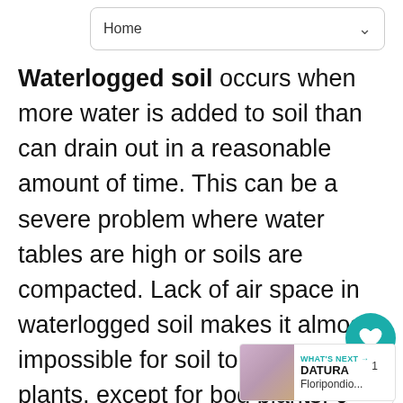Home
Waterlogged soil occurs when more water is added to soil than can drain out in a reasonable amount of time. This can be a severe problem where water tables are high or soils are compacted. Lack of air space in waterlogged soil makes it almost impossible for soil to drain. Few plants, except for bog plants, can tolerate these conditions. Drainage must be improved if you are not satisfied with bog gardening. Over-watered plants have the same wilted leaves as under-watered plants. Fungi such as Phytophthora and Pythium affect vascular systems, which cause wilt. If the problem is only on the surface, diverted to a drainage ditch. If drainage is poor